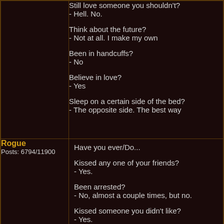Still love someone you shouldn't?
- Hell. No.

Think about the future?
- Not at all. I make my own

Been in handcuffs?
- No

Believe in love?
- Yes

Sleep on a certain side of the bed?
- The opposite side. The best way
Rogue
Posts: 6794/11900
Have you ever/Do...

Kissed any one of your friends?
- Yes.

Been arrested?
- No, almost a couple times, but no.

Kissed someone you didn't like?
- Yes.

Slept in until 5 PM?
- No, gone to bed at 5 p.m. before, though.

Fallen asleep at work/school?